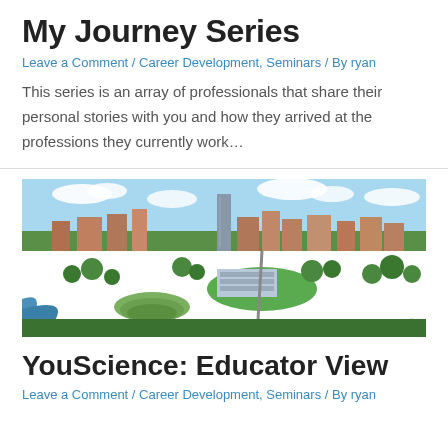My Journey Series
Leave a Comment / Career Development, Seminars / By ryan
This series is an array of professionals that share their personal stories with you and how they arrived at the professions they currently work…
[Figure (photo): Aerial panoramic view of a mid-sized city campus with a river and green park areas, brick buildings, and a high-rise in the center background under a partly cloudy sky.]
YouScience: Educator View
Leave a Comment / Career Development, Seminars / By ryan